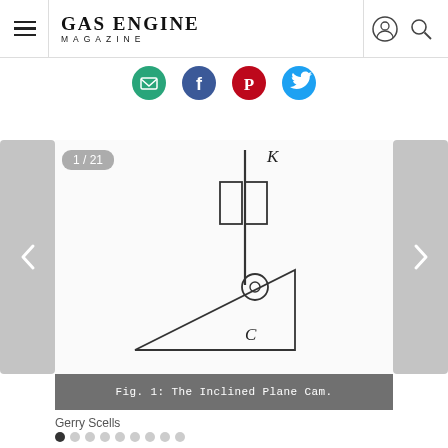Gas Engine Magazine
[Figure (illustration): Social share icons row: email (green circle), Facebook (blue circle), Pinterest (red circle), Twitter (blue bird circle)]
[Figure (engineering-diagram): Technical diagram labeled Fig. 1: The Inclined Plane Cam. Shows a vertical rod with two rectangular blocks and a letter K at top, a circular cam follower resting on an inclined plane (triangle) with letter C below.]
Fig. 1: The Inclined Plane Cam.
Gerry Scells